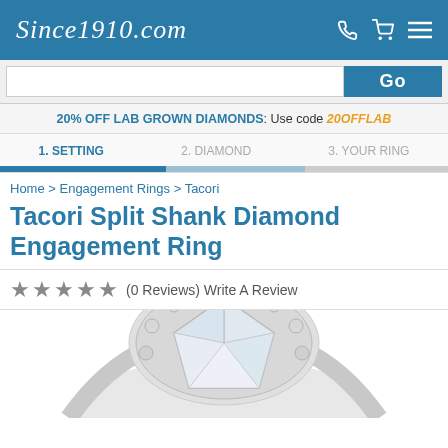Since1910.com
20% OFF LAB GROWN DIAMONDS: Use code 20OFFLAB
1. SETTING   2. DIAMOND   3. YOUR RING
Home > Engagement Rings > Tacori
Tacori Split Shank Diamond Engagement Ring
★★★★★ (0 Reviews) Write A Review
[Figure (photo): Close-up photo of a diamond engagement ring with a large round brilliant center stone and a halo setting, cropped at bottom of page]